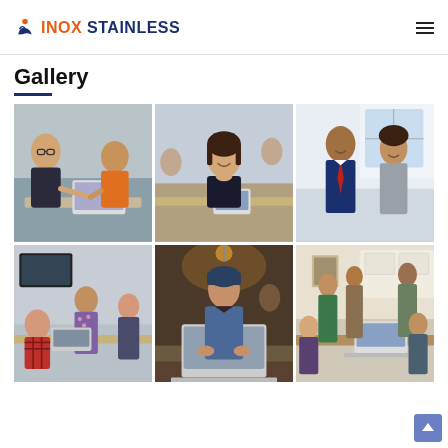INOX STAINLESS
Gallery
[Figure (photo): Two men at a desk shaking hands over a laptop, one wearing glasses and a suit, the other in an orange shirt]
[Figure (photo): Asian woman smiling and resting chin on hand at a meeting table with colleagues and tablets]
[Figure (photo): A man in a blue suit with red tie and a woman in grey blazer standing and smiling in a bright office]
[Figure (photo): Group of people in a casual office setting, woman in plaid shirt at a table with others standing around]
[Figure (photo): Young woman in denim jacket and beanie working on a laptop in a dimly lit cafe]
[Figure (photo): Group of young people gathered around a table with a laptop in a bright kitchen/office space]